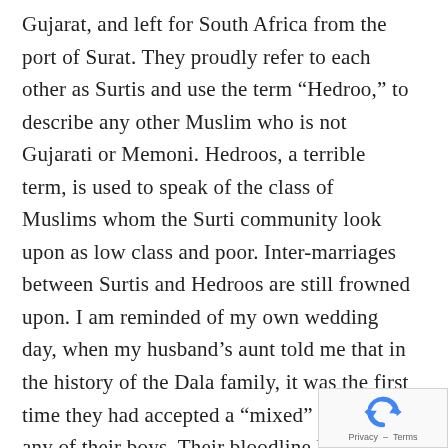Gujarat, and left for South Africa from the port of Surat. They proudly refer to each other as Surtis and use the term “Hedroo,” to describe any other Muslim who is not Gujarati or Memoni. Hedroos, a terrible term, is used to speak of the class of Muslims whom the Surti community look upon as low class and poor. Inter-marriages between Surtis and Hedroos are still frowned upon. I am reminded of my own wedding day, when my husband’s aunt told me that in the history of the Dala family, it was the first time they had accepted a “mixed” girl for any of their boys. Their bloodline had remained pure Gujarati till 2006, the year of my nikkah. I responded to the aunt by a small nod that day, and replied to her: “Hahn ji.”
[Figure (other): reCAPTCHA privacy badge with rotating arrows logo and 'Privacy - Terms' text]